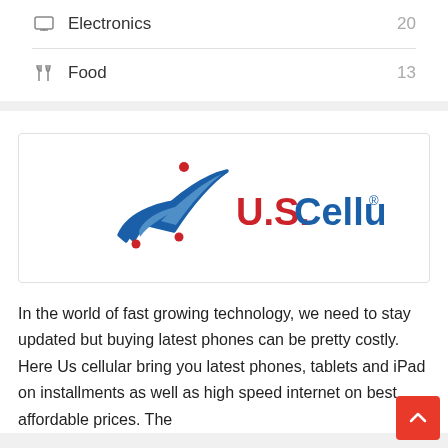Electronics  20
Food  13
[Figure (logo): U.S. Cellular logo with blue star/swoosh graphic and red and blue text reading U.S. Cellular]
In the world of fast growing technology, we need to stay updated but buying latest phones can be pretty costly. Here Us cellular bring you latest phones, tablets and iPad on installments as well as high speed internet on best affordable prices. The